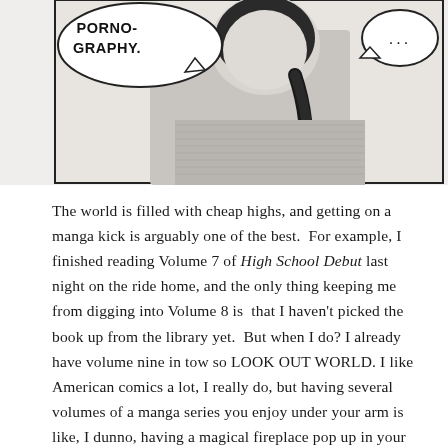[Figure (illustration): Manga-style comic panel showing a female character with long dark hair in a ponytail. Two speech bubbles: one on the left says 'PORNO- GRAPHY.' and one on the right contains '...']
The world is filled with cheap highs, and getting on a manga kick is arguably one of the best.  For example, I finished reading Volume 7 of High School Debut last night on the ride home, and the only thing keeping me from digging into Volume 8 is  that I haven't picked the book up from the library yet.  But when I do? I already have volume nine in tow so LOOK OUT WORLD. I like American comics a lot, I really do, but having several volumes of a manga series you enjoy under your arm is like, I dunno, having a magical fireplace pop up in your home or a pricey bottle of whiskey in the cabinet: no matter what happens over the next few days, you can be relatively sure you're going to finish the day feeling warm and relaxed.